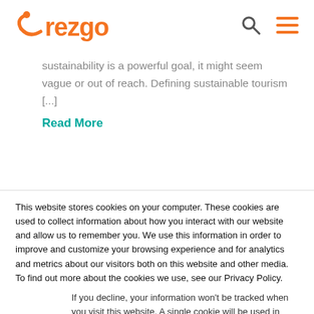[Figure (logo): Rezgo logo with orange arc and text 'rezgo' in orange, plus search and hamburger menu icons in top right]
sustainability is a powerful goal, it might seem vague or out of reach. Defining sustainable tourism [...]
Read More
This website stores cookies on your computer. These cookies are used to collect information about how you interact with our website and allow us to remember you. We use this information in order to improve and customize your browsing experience and for analytics and metrics about our visitors both on this website and other media. To find out more about the cookies we use, see our Privacy Policy.
If you decline, your information won't be tracked when you visit this website. A single cookie will be used in your browser to remember your preference not to be tracked.